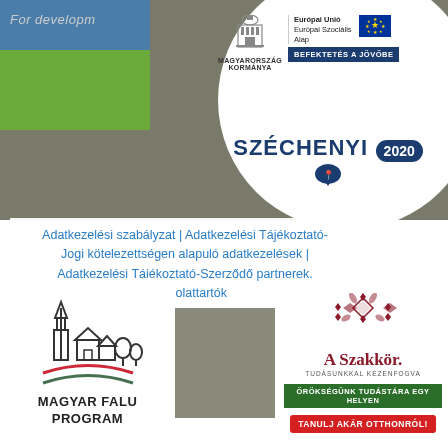[Figure (logo): Top left decorative blocks with 'For developm' text, blue and green rectangles]
[Figure (logo): Hungarian Government logo with Széchenyi 2020 branding, EU Social Fund logo, and BEFEKTETÉS A JÖVŐBE badge]
Adatkezelési szabályzat | Adatkezelési Tájékoztató-Jogi kötelezettségen alapuló adatkezelések | Adatkezelési Tájékoztató-Szerződő partnerek, kapcsolattartók
[Figure (logo): Magyar Falu Program logo with church and house outline illustration and Hungarian flag arc]
[Figure (photo): Gray/blurred rectangular image placeholder in center bottom]
[Figure (logo): A Szakkör logo with ornamental red pattern, green bar 'ÖRÖKSÉGÜNK TUDÁSTÁRA EGY HELYEN' and red button 'TANULJ AKÁR OTTHONRÓL!']